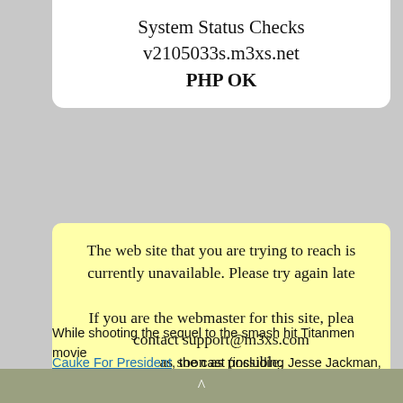System Status Checks
v2105033s.m3xs.net
PHP OK
The web site that you are trying to reach is currently unavailable. Please try again later.

If you are the webmaster for this site, please contact support@m3xs.com as soon as possible.
While shooting the sequel to the smash hit Titanmen movie
Cauke For President, the cast (including Jesse Jackman, Alex